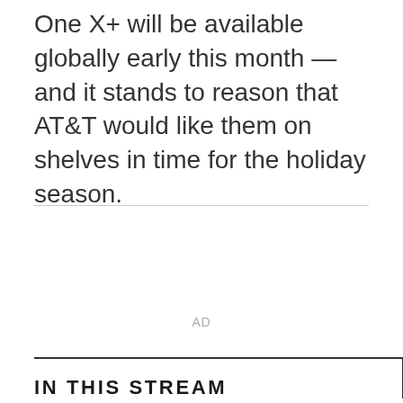One X+ will be available globally early this month — and it stands to reason that AT&T would like them on shelves in time for the holiday season.
[Figure (other): Advertisement placeholder area labeled 'AD' in gray text, bordered top and bottom by light gray horizontal rules.]
IN THIS STREAM